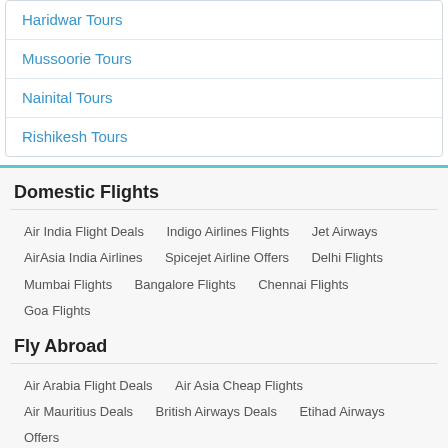Haridwar Tours
Mussoorie Tours
Nainital Tours
Rishikesh Tours
Domestic Flights
Air India Flight Deals   Indigo Airlines Flights   Jet Airways   AirAsia India Airlines   Spicejet Airline Offers   Delhi Flights   Mumbai Flights   Bangalore Flights   Chennai Flights   Goa Flights
Fly Abroad
Air Arabia Flight Deals   Air Asia Cheap Flights   Air Mauritius Deals   British Airways Deals   Etihad Airways Offers   Fly Emirates Airlines   Lufthansa Airlines   Qantas Airlines   Qatar Airways Deals   South African Airways
Travel Agents